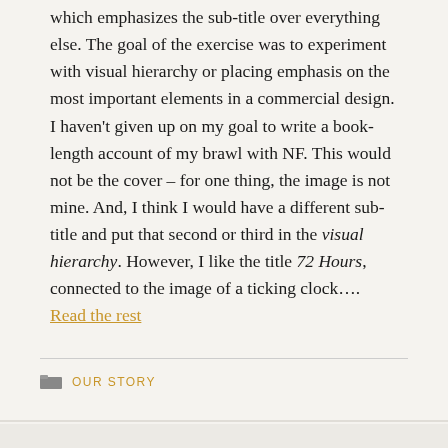which emphasizes the sub-title over everything else. The goal of the exercise was to experiment with visual hierarchy or placing emphasis on the most important elements in a commercial design. I haven't given up on my goal to write a book-length account of my brawl with NF. This would not be the cover – for one thing, the image is not mine. And, I think I would have a different sub-title and put that second or third in the visual hierarchy. However, I like the title 72 Hours, connected to the image of a ticking clock…. Read the rest
OUR STORY